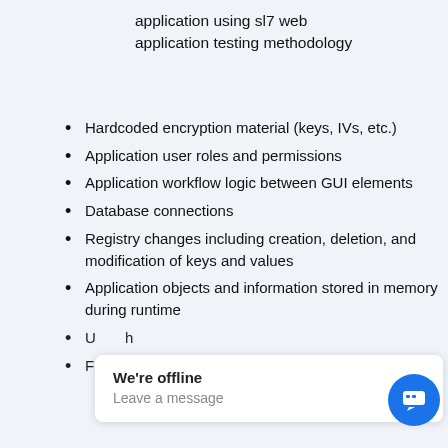application using sl7 web application testing methodology
Hardcoded encryption material (keys, IVs, etc.)
Application user roles and permissions
Application workflow logic between GUI elements
Database connections
Registry changes including creation, deletion, and modification of keys and values
Application objects and information stored in memory during runtime
U[obscured by chat overlay]
F[obscured] and folder creation, deletion, and